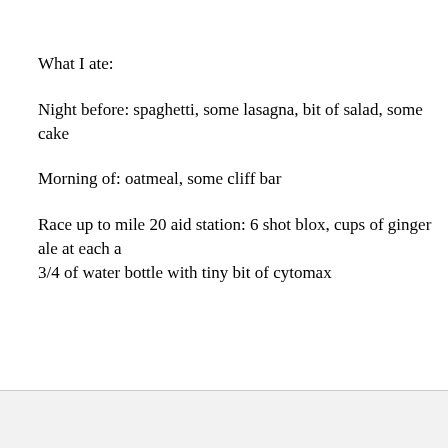What I ate:
Night before: spaghetti, some lasagna, bit of salad, some cake
Morning of: oatmeal, some cliff bar
Race up to mile 20 aid station: 6 shot blox, cups of ginger ale at each a 3/4 of water bottle with tiny bit of cytomax